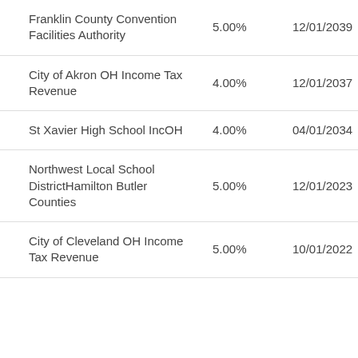| Name | Rate | Maturity | Weight |
| --- | --- | --- | --- |
| Franklin County Convention Facilities Authority | 5.00% | 12/01/2039 | 0.29 |
| City of Akron OH Income Tax Revenue | 4.00% | 12/01/2037 | 0.29 |
| St Xavier High School IncOH | 4.00% | 04/01/2034 | 0.29 |
| Northwest Local School DistrictHamilton Butler Counties | 5.00% | 12/01/2023 | 0.28 |
| City of Cleveland OH Income Tax Revenue | 5.00% | 10/01/2022 | 0.28 |